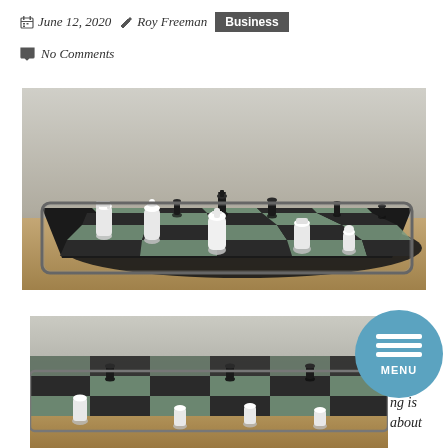June 12, 2020  Roy Freeman  Business
No Comments
[Figure (photo): Chess pieces on a black and white chess board placed on a tablet device on a wooden table, close-up view with selective focus.]
[Figure (photo): Chess pieces on a chess board, partial view, bottom portion of page. A circular blue menu button overlaid in the bottom right area with three horizontal lines and the word MENU.]
ng is about